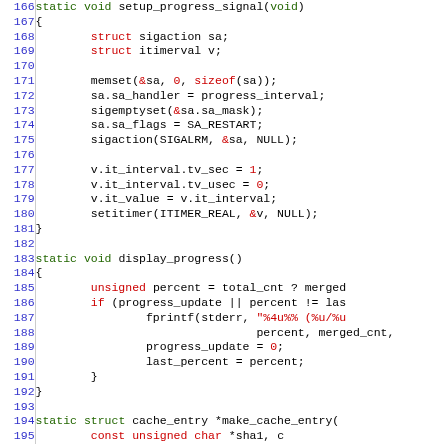[Figure (screenshot): Source code listing in C showing functions setup_progress_signal, display_progress, and beginning of make_cache_entry. Line numbers 166-195 are shown on the left. Code uses syntax highlighting: green for keywords/types, red for string literals and special values, black for identifiers and operators.]